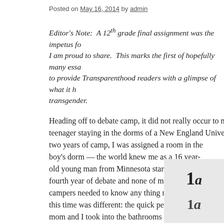Posted on May 16, 2014 by admin
Editor's Note:  A 12th grade final assignment was the impetus fo... I am proud to share.  This marks the first of hopefully many essa... to provide Transparenthood readers with a glimpse of what it h... transgender.
Heading off to debate camp, it did not really occur to me to wor... teenager staying in the dorms of a New England University for ... two years of camp, I was assigned a room in the boy's dorm — the world knew me as a 16 year-old young man from Minnesota starting his fourth year of debate and none of my fellow campers needed to know any thing more.  But this time was different: the quick peak that my mom and I took into the bathrooms to confirm there was enough shower privacy did little to prepare me for the emotional toll that my friend's language would have on me.
[Figure (photo): Close-up photo showing numbers/text, partially visible]